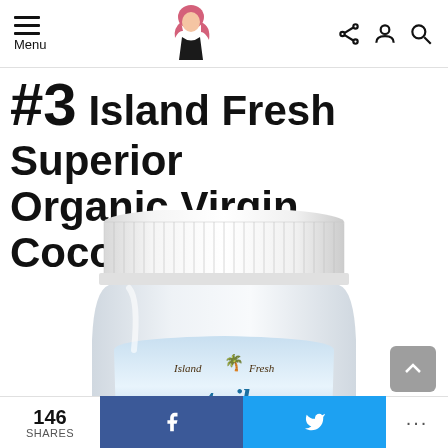Menu | [logo] | [share icon] [user icon] [search icon]
#3 Island Fresh Superior Organic Virgin Coconut Oil
[Figure (photo): Close-up photo of Island Fresh Coconut Oil jar showing white ribbed cap and label with 'Island Fresh' branding and 'coconut oil' text in blue-green script]
146 SHARES | f (Facebook) | (Twitter bird) | ...